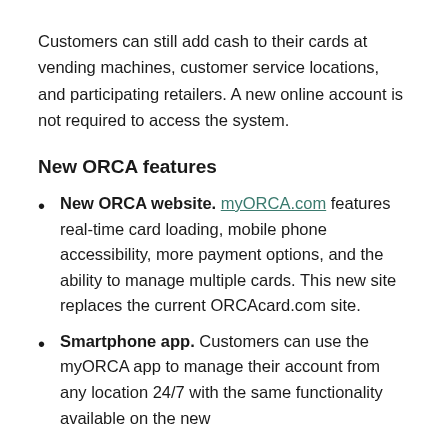Customers can still add cash to their cards at vending machines, customer service locations, and participating retailers. A new online account is not required to access the system.
New ORCA features
New ORCA website. myORCA.com features real-time card loading, mobile phone accessibility, more payment options, and the ability to manage multiple cards. This new site replaces the current ORCAcard.com site.
Smartphone app. Customers can use the myORCA app to manage their account from any location 24/7 with the same functionality available on the new